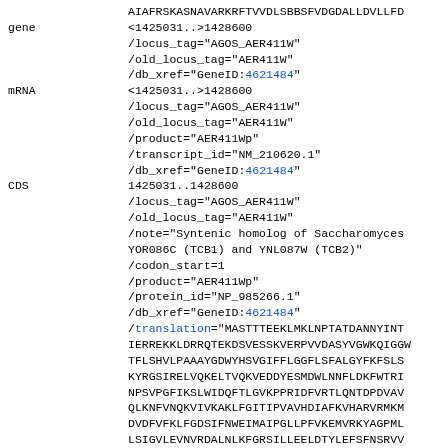AIAFRSKASNAVARKRFTVVDLSBBSFVDGDALLDVLLFP...
gene <1425031..>1428600
/locus_tag="AGOS_AER411W"
/old_locus_tag="AER411W"
/db_xref="GeneID:4621484"
mRNA <1425031..>1428600
/locus_tag="AGOS_AER411W"
/old_locus_tag="AER411W"
/product="AER411Wp"
/transcript_id="NM_210620.1"
/db_xref="GeneID:4621484"
CDS 1425031..1428600
/locus_tag="AGOS_AER411W"
/old_locus_tag="AER411W"
/note="Syntenic homolog of Saccharomyces YOR086C (TCB1) and YNL087W (TCB2)"
/codon_start=1
/product="AER411Wp"
/protein_id="NP_985266.1"
/db_xref="GeneID:4621484"
/translation="MASTTTEEKLMKLNPTATDANNYINT IERREKKLDRRQTEKDSVESSKVERPVVDASYVGWKQIGGW TFLSHVLPAAAYGDWYHSVGIFFLGGFLSFALGYFKFSLS KYRGSIRELVQKELTVQKVEDDYESMDWLNNFLDKFWTRI NPSVPGFIKSLWIDQFTLGVKPPRIDFVRTLQNTDPDVAV QLKNFVNQKVIVKAKLFGITIPVAVHDIAFKVHARVRMKM DVDFVFKLFGDSIFNWEIMAIPGLLPFVKEMVRKYAGPML LSIGVLEVNVRDALNLKFGRSILLEELDTYLEFSFNSRVV LILLDSFTDPLSITLYSKRPKLNDRVLGSIQYNLSSLHEK ELNFDLNFHHTLESKKLPDGTIEDMPDLNTGITKIVVEEA INAKLVETTQTVSKDANPKFDTSHEIVITDRRRTRIKFVV IDRTQVDKKWIPLPGNNGELKVTTHWKPVSLDVGSESGSV NLEKFGKIDDXARVLVNGVNRGRINAINSTLDRIWNEATY...